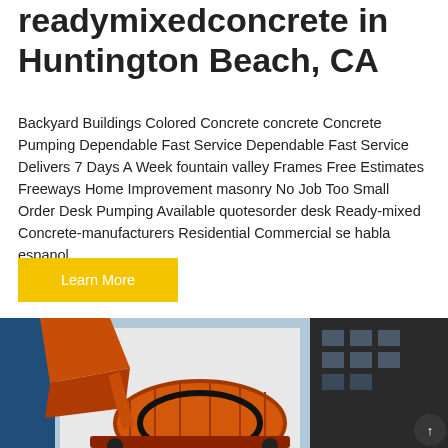readymixedconcrete in Huntington Beach, CA
Backyard Buildings Colored Concrete concrete Concrete Pumping Dependable Fast Service Dependable Fast Service Delivers 7 Days A Week fountain valley Frames Free Estimates Freeways Home Improvement masonry No Job Too Small Order Desk Pumping Available quotesorder desk Ready-mixed Concrete-manufacturers Residential Commercial se habla espanol
Learn More
[Figure (photo): Orange concrete mixer / ready-mix concrete truck machinery photographed outdoors against a light background, with a dark industrial building visible on the right side.]